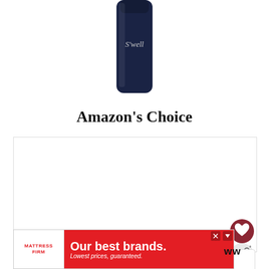[Figure (photo): Partial view of a dark navy blue S'well water bottle, showing the bottom half with the S'well logo visible on the bottle surface]
Amazon's Choice
[Figure (screenshot): Large white/blank content area representing a video player or embedded content panel with a heart (favorite) button and a share button overlaid on the right side, and a 'What's Next' preview panel showing 'How to Pack: Business...' with a thumbnail image]
[Figure (photo): Advertisement banner for Mattress Firm with red background, white text reading 'MATTRESS FIRM' logo on left, and 'Our best brands. Lowest prices, guaranteed.' on the right]